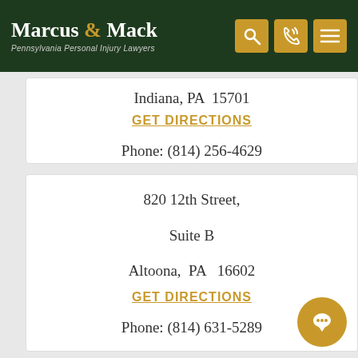Marcus & Mack — Pennsylvania Personal Injury Lawyers
Indiana, PA  15701
GET DIRECTIONS
Phone: (814) 256-4629
820 12th Street, Suite B Altoona, PA  16602
GET DIRECTIONS
Phone: (814) 631-5289